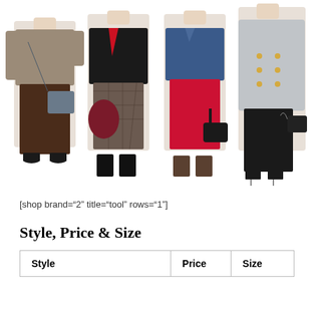[Figure (photo): Four fashion model photos side by side showing different outfit styles: (1) woman in brown knit top, dark brown pencil skirt with grey crossbody bag, (2) woman in black leather jacket, red blouse, grey plaid midi skirt with burgundy hobo bag, (3) woman in denim jacket, floral top, red midi skirt with black shoulder bag, (4) woman in grey double-breasted coat, tan turtleneck, black leather pants with black chain bag.]
[shop brand="2" title="tool" rows="1"]
Style, Price & Size
| Style | Price | Size |
| --- | --- | --- |